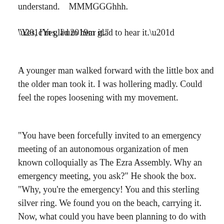understand.    MMMGGGhhh.
“Yes, I’m glad to hear it.”
A younger man walked forward with the little box and the older man took it. I was hollering madly. Could feel the ropes loosening with my movement.
“You have been forcefully invited to an emergency meeting of an autonomous organization of men known colloquially as The Ezra Assembly. Why an emergency meeting, you ask?” He shook the box. “Why, you’re the emergency! You and this sterling silver ring. We found you on the beach, carrying it. Now, what could you have been planning to do with this ring?”